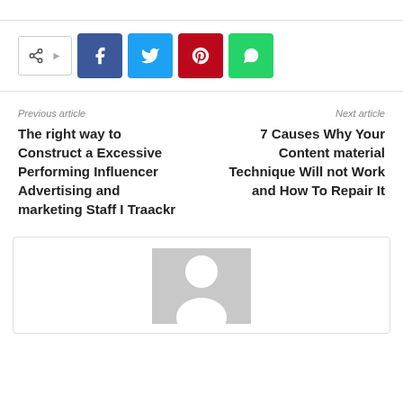[Figure (other): Social share buttons row: share toggle icon, Facebook, Twitter, Pinterest, WhatsApp]
Previous article
Next article
The right way to Construct a Excessive Performing Influencer Advertising and marketing Staff I Traackr
7 Causes Why Your Content material Technique Will not Work and How To Repair It
[Figure (photo): Author avatar placeholder — grey rectangle with white silhouette person icon]